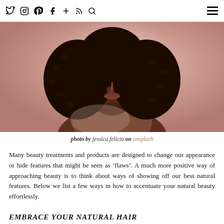Social icons: Twitter, Instagram, Pinterest, Facebook, +, RSS, Search | Hamburger menu
[Figure (photo): Close-up portrait of a Black woman with natural curly hair against a pink background, bare shoulders visible, soft lighting]
photo by jessica felicio on unsplash
Many beauty treatments and products are designed to change our appearance or hide features that might be seen as 'flaws'. A much more positive way of approaching beauty is to think about ways of showing off our best natural features. Below we list a few ways in how to accentuate your natural beauty effortlessly.
EMBRACE YOUR NATURAL HAIR